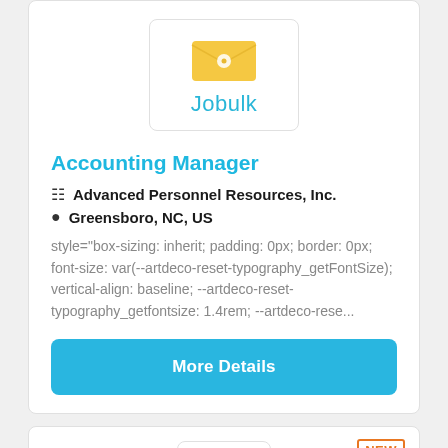[Figure (logo): Jobulk company logo — yellow envelope icon with white circle, text 'Jobulk' in blue below]
Accounting Manager
Advanced Personnel Resources, Inc.
Greensboro, NC, US
style="box-sizing: inherit; padding: 0px; border: 0px; font-size: var(--artdeco-reset-typography_getFontSize); vertical-align: baseline; --artdeco-reset-typography_getfontsize: 1.4rem; --artdeco-rese...
More Details
[Figure (logo): Second card with NEW badge and a teal pin/location icon logo]